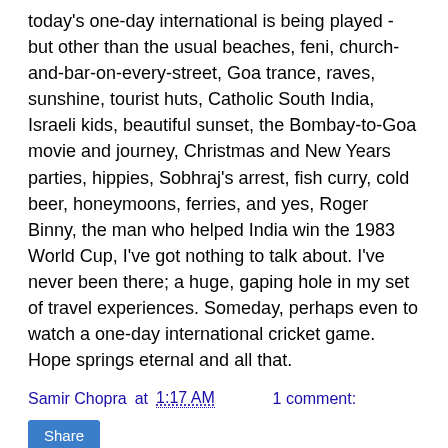today's one-day international is being played - but other than the usual beaches, feni, church-and-bar-on-every-street, Goa trance, raves, sunshine, tourist huts, Catholic South India, Israeli kids, beautiful sunset, the Bombay-to-Goa movie and journey, Christmas and New Years parties, hippies, Sobhraj's arrest, fish curry, cold beer, honeymoons, ferries, and yes, Roger Binny, the man who helped India win the 1983 World Cup, I've got nothing to talk about. I've never been there; a huge, gaping hole in my set of travel experiences. Someday, perhaps even to watch a one-day international cricket game. Hope springs eternal and all that.
Samir Chopra at 1:17 AM    1 comment:
Share
Asians, old-timers, ghosts
On seeing that Sajid Mahmood and Vikram Solanki were both playing in today's international, I began to wonder if England would set some sort of record by playing four